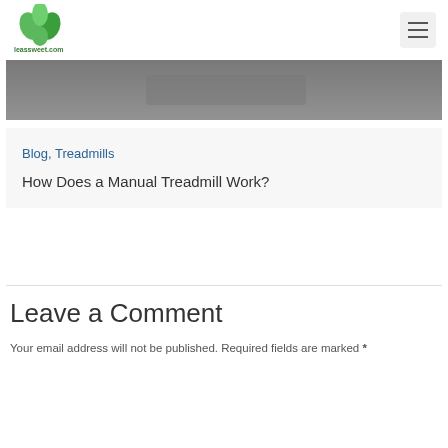leassweet.com
[Figure (photo): Partial grayscale photo of a treadmill surface/belt, cropped at top]
Blog, Treadmills
How Does a Manual Treadmill Work?
Leave a Comment
Your email address will not be published. Required fields are marked *